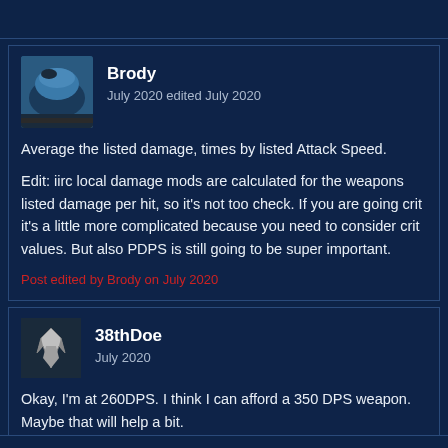Brody
July 2020 edited July 2020
Average the listed damage, times by listed Attack Speed.
Edit: iirc local damage mods are calculated for the weapons listed damage per hit, so it's not too check. If you are going crit it's a little more complicated because you need to consider crit values. But also PDPS is still going to be super important.
Post edited by Brody on July 2020
38thDoe
July 2020
Okay, I'm at 260DPS. I think I can afford a 350 DPS weapon. Maybe that will help a bit.